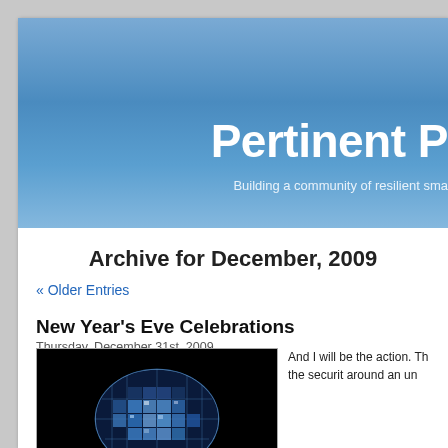Pertinent P
Building a community of resilient sma
Archive for December, 2009
« Older Entries
New Year's Eve Celebrations
Thursday, December 31st, 2009
[Figure (photo): A blue and white illuminated globe-like structure against a black background]
And I will be the action. The security around an un